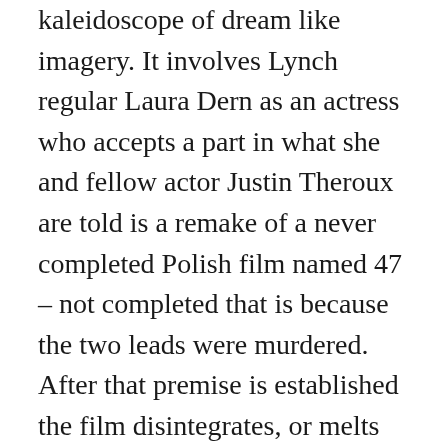kaleidoscope of dream like imagery. It involves Lynch regular Laura Dern as an actress who accepts a part in what she and fellow actor Justin Theroux are told is a remake of a never completed Polish film named 47 – not completed that is because the two leads were murdered. After that premise is established the film disintegrates, or melts rather, into an endless seemingly random series of dream-like sequences.
In arguably the most abstract film-within-a-film in history the actors and the film itself become one another and the entire thing turns inside out and back again. Oh, and throw in a living room set with people with large rabbit heads